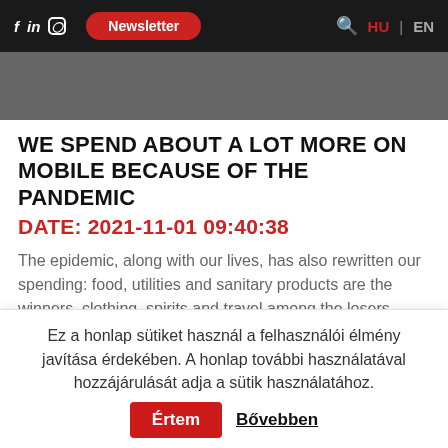f in [instagram] Newsletter HU | EN
[Figure (photo): Dark background hero image, partially visible]
WE SPEND ABOUT A LOT MORE ON MOBILE BECAUSE OF THE PANDEMIC
DATE: 2021-11-01 09:40:38
The epidemic, along with our lives, has also rewritten our spending: food, utilities and sanitary products are the winners, clothing, spirits and travel among the losers....
Read more
[Figure (photo): KOO branded product image showing canned goods]
Ez a honlap sütiket használ a felhasználói élmény javítása érdekében. A honlap további használatával hozzájárulását adja a sütik használatához. Értem Bővebben